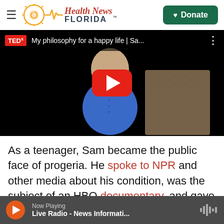Health News Florida
[Figure (screenshot): YouTube video thumbnail showing a TEDx talk titled 'My philosophy for a happy life | Sa...' with a young person with progeria sitting in a chair, wearing a blue shirt and glasses, with a large red YouTube play button overlay.]
As a teenager, Sam became the public face of progeria. He spoke to NPR and other media about his condition, was the subject of an HBO documentary, and gave a TEDx talk about how to
Now Playing
Live Radio - News Informati...